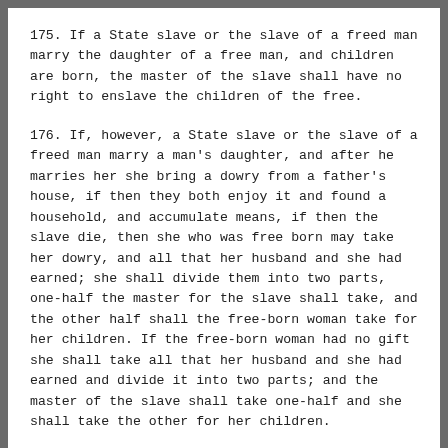175. If a State slave or the slave of a freed man marry the daughter of a free man, and children are born, the master of the slave shall have no right to enslave the children of the free.
176. If, however, a State slave or the slave of a freed man marry a man's daughter, and after he marries her she bring a dowry from a father's house, if then they both enjoy it and found a household, and accumulate means, if then the slave die, then she who was free born may take her dowry, and all that her husband and she had earned; she shall divide them into two parts, one-half the master for the slave shall take, and the other half shall the free-born woman take for her children. If the free-born woman had no gift she shall take all that her husband and she had earned and divide it into two parts; and the master of the slave shall take one-half and she shall take the other for her children.
177. If a widow, whose children are not grown, wishes to enter another house (remarry), she shall not enter it without the knowledge of the judge. If she enter another house the judge shall examine the state of the house of her first husband. Then the house of her first husband shall be entrusted to the second